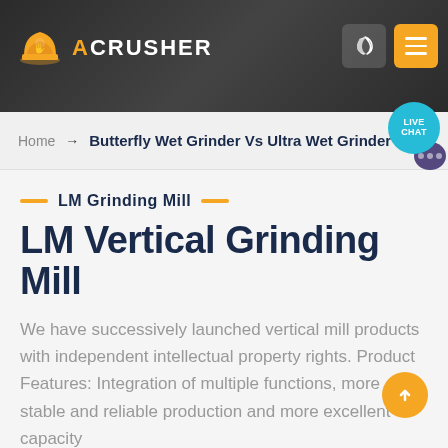ACRUSHER
Home → Butterfly Wet Grinder Vs Ultra Wet Grinder
LM Grinding Mill
LM Vertical Grinding Mill
We have successively launched vertical mill products with independent intellectual property rights. Product Features: Integration of multiple functions, more stable and reliable production and more excellent capacity
Read More →